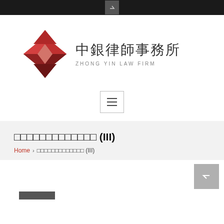[Figure (logo): Zhong Yin Law Firm logo with red diamond geometric symbol and Chinese/English text]
□□□□□□□□□□□□□ (III)
Home > □□□□□□□□□□□□□ (III)